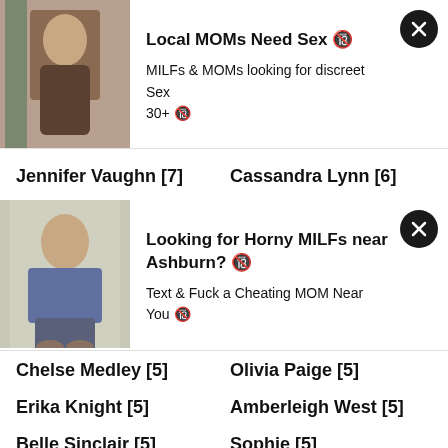[Figure (photo): Advertisement banner 1 with photo of a woman and text: Local MOMs Need Sex, MILFs & MOMs looking for discreet Sex 30+]
Jennifer Vaughn [7]
Cassandra Lynn [6]
[Figure (photo): Advertisement banner 2 with photo of a woman sitting and text: Looking for Horny MILFs near Ashburn? Text & Fuck a Cheating MOM Near You]
Chelse Medley [5]
Olivia Paige [5]
Erika Knight [5]
Amberleigh West [5]
Belle Sinclair [5]
Sophie [5]
Erica Campbell [5]
Mandy Kay [5]
Yesenia Bustillo [5]
Dani Mathers [5]
Ali Rose [5]
Jamie Lynn [4]